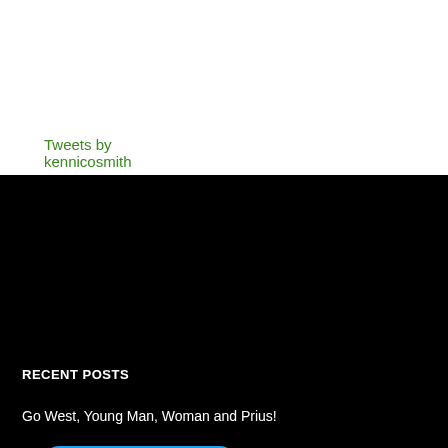Tweets by kennicosmith
[Figure (other): Twitter Follow button for @kennicosmith — blue rounded button with bird icon]
Search ...
RECENT POSTS
Go West, Young Man, Woman and Prius!